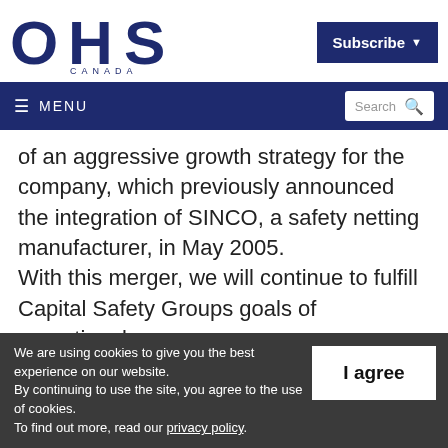[Figure (logo): OHS Canada logo — large dark navy blue letters OHS with CANADA below in smaller spaced caps]
Subscribe ▾
≡ MENU   Search 🔍
of an aggressive growth strategy for the company, which previously announced the integration of SINCO, a safety netting manufacturer, in May 2005.
With this merger, we will continue to fulfill Capital Safety Groups goals of operational
We are using cookies to give you the best experience on our website. By continuing to use the site, you agree to the use of cookies. To find out more, read our privacy policy.
I agree